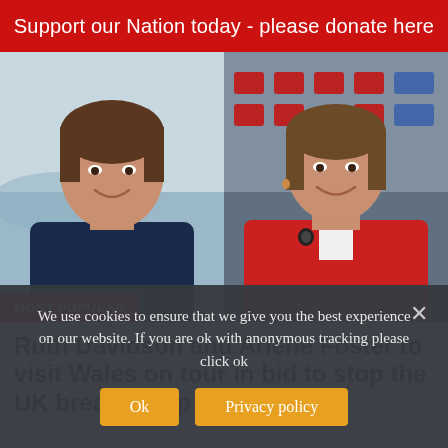Support our Nation today - please donate here
[Figure (photo): Two side-by-side photos: left shows Ruth Davidson (woman with short brown hair in dark navy jacket, outdoor/coastal backdrop); right shows Arlene Foster (woman in red jacket, seated, indoor arena backdrop). A red 'MOST POPULAR' label overlaid on bottom-left of the left photo.]
Ruth Davidson and Arlene Foster to visit Wales on tour in bid to stop the UK breaking up
We use cookies to ensure that we give you the best experience on our website. If you are ok with anonymous tracking please click ok